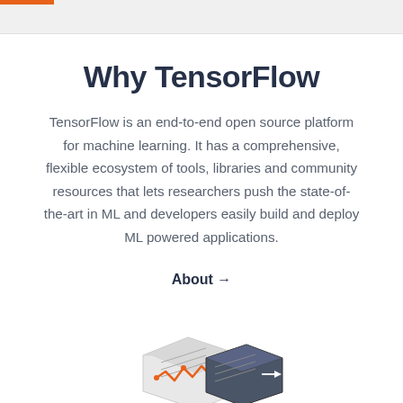Why TensorFlow
TensorFlow is an end-to-end open source platform for machine learning. It has a comprehensive, flexible ecosystem of tools, libraries and community resources that lets researchers push the state-of-the-art in ML and developers easily build and deploy ML powered applications.
About →
[Figure (illustration): Isometric diagram of neural network layers or ML pipeline showing stacked panels with connected nodes and arrows, rendered in orange and dark blue/grey colors.]